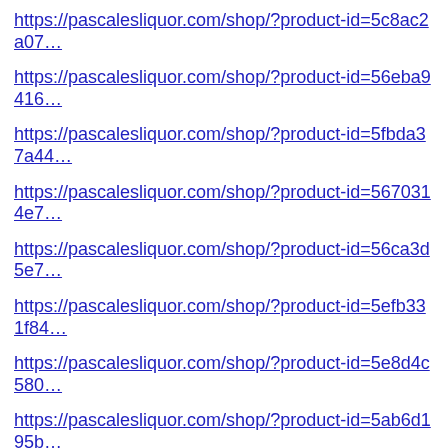https://pascalesliquor.com/shop/?product-id=5c8ac2a07…
https://pascalesliquor.com/shop/?product-id=56eba9416…
https://pascalesliquor.com/shop/?product-id=5fbda37a44…
https://pascalesliquor.com/shop/?product-id=5670314e7…
https://pascalesliquor.com/shop/?product-id=56ca3d5e7…
https://pascalesliquor.com/shop/?product-id=5efb331f84…
https://pascalesliquor.com/shop/?product-id=5e8d4c580…
https://pascalesliquor.com/shop/?product-id=5ab6d195b…
https://pascalesliquor.com/shop/?product-id=5d926599a…
https://pascalesliquor.com/shop/?product-id=618402809…
https://pascalesliquor.com/shop/?country=Barbados